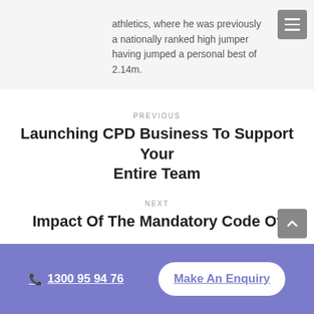athletics, where he was previously a nationally ranked high jumper having jumped a personal best of 2.14m.
PREVIOUS
Launching CPD Business To Support Your Entire Team
NEXT
Impact Of The Mandatory Code Of
1300 95 94 76
Make An Enquiry